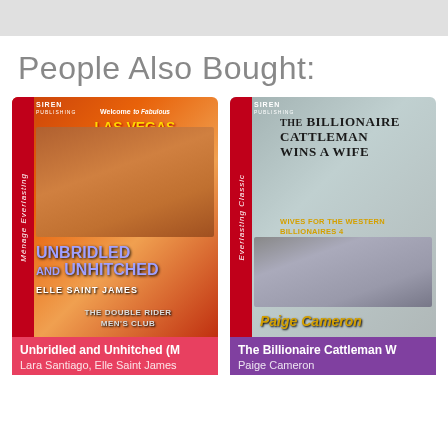People Also Bought:
[Figure (photo): Book cover: Unbridled and Unhitched by Elle Saint James. Red cover with Las Vegas sign, two men and a woman. Ménage Everlasting Siren Publishing. The Double Rider Men's Club series.]
Unbridled and Unhitched (M
Lara Santiago, Elle Saint James
[Figure (photo): Book cover: The Billionaire Cattleman Wins a Wife by Paige Cameron. Everlasting Classic Siren Publishing. Wives for the Western Billionaires 4. Couple in western setting.]
The Billionaire Cattleman W
Paige Cameron